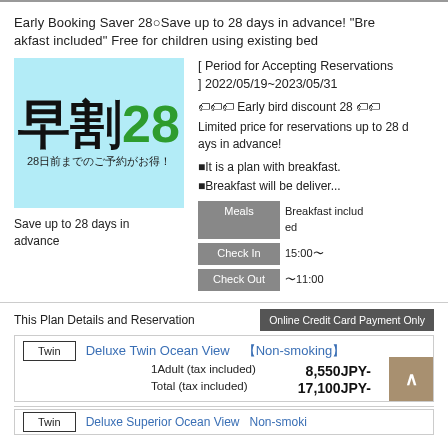Early Booking Saver 28○Save up to 28 days in advance! "Breakfast included" Free for children using existing bed
[Figure (illustration): Light blue box with large Japanese text '早割28' (Early Discount 28) where '早割' is black and '28' is green, and smaller Japanese text '28日前までのご予約がお得！' below]
Save up to 28 days in advance
[ Period for Accepting Reservations ] 2022/05/19~2023/05/31
🏷️🏷️🏷️ Early bird discount 28 🏷️🏷️
Limited price for reservations up to 28 days in advance!
■It is a plan with breakfast.
■Breakfast will be deliver...
|  |  |
| --- | --- |
| Meals | Breakfast included |
| Check In | 15:00〜 |
| Check Out | 〜11:00 |
This Plan Details and Reservation
Online Credit Card Payment Only
Twin   Deluxe Twin Ocean View 【Non-smoking】
1Adult (tax included)   8,550JPY-
Total (tax included)   17,100JPY-